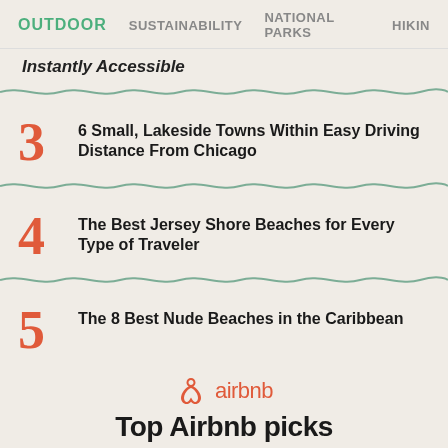OUTDOOR  SUSTAINABILITY  NATIONAL PARKS  HIKING
Instantly Accessible
3  6 Small, Lakeside Towns Within Easy Driving Distance From Chicago
4  The Best Jersey Shore Beaches for Every Type of Traveler
5  The 8 Best Nude Beaches in the Caribbean
[Figure (logo): Airbnb logo with triangle/roof icon and airbnb wordmark in coral/red color]
Top Airbnb picks